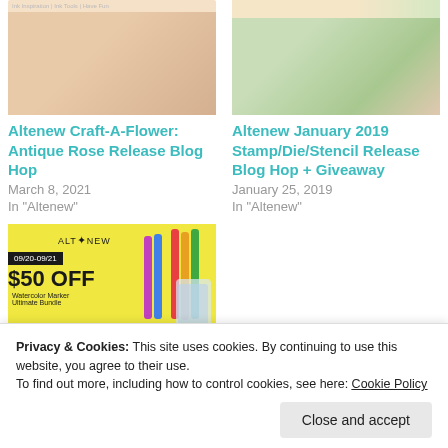[Figure (photo): Altenew Craft-A-Flower blog post thumbnail image, top strip]
Altenew Craft-A-Flower: Antique Rose Release Blog Hop
March 8, 2021
In "Altenew"
[Figure (photo): Altenew January 2019 Stamp/Die/Stencil blog post thumbnail, floral image]
Altenew January 2019 Stamp/Die/Stencil Release Blog Hop + Giveaway
January 25, 2019
In "Altenew"
[Figure (photo): Altenew Watercolor Brush Marker Refills promotional image on yellow background showing markers and date 09/20-09/21, $50 OFF, Watercolor Marker Ultimate Bundle]
Altenew Watercolor Brush Marker Refills Release Blog Hop +
Privacy & Cookies: This site uses cookies. By continuing to use this website, you agree to their use.
To find out more, including how to control cookies, see here: Cookie Policy
Close and accept